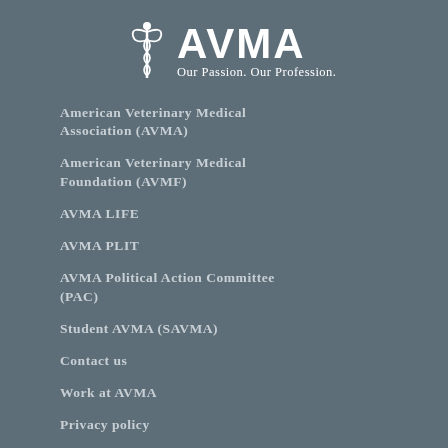[Figure (logo): AVMA logo with caduceus icon and text 'AVMA' with tagline 'Our Passion. Our Profession.']
American Veterinary Medical Association (AVMA)
American Veterinary Medical Foundation (AVMF)
AVMA LIFE
AVMA PLIT
AVMA Political Action Committee (PAC)
Student AVMA (SAVMA)
Contact us
Work at AVMA
Privacy policy